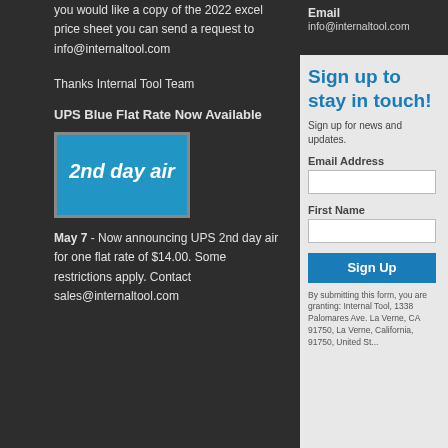you would like a copy of the 2022 excel price sheet you can send a request to info@internaltool.com
Email
info@internaltool.com
Thanks Internal Tool Team
UPS Blue Flat Rate Now Available
[Figure (illustration): UPS 2nd day air blue label graphic]
May 7 - Now announcing UPS 2nd day air for one flat rate of $14.00. Some restrictions apply. Contact sales@internaltool.com
Sign up to stay in touch!
Sign up for news and updates.
Email Address
First Name
Sign Up
By submitting this form, you are granting: Internal Tool, 1338 Palomares Ave. La Verne, CA 91750, La Verne, California, 91750, United St...